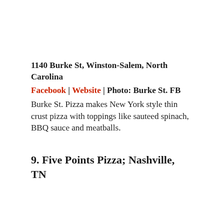1140 Burke St, Winston-Salem, North Carolina
Facebook | Website | Photo: Burke St. FB
Burke St. Pizza makes New York style thin crust pizza with toppings like sauteed spinach, BBQ sauce and meatballs.
9. Five Points Pizza; Nashville, TN